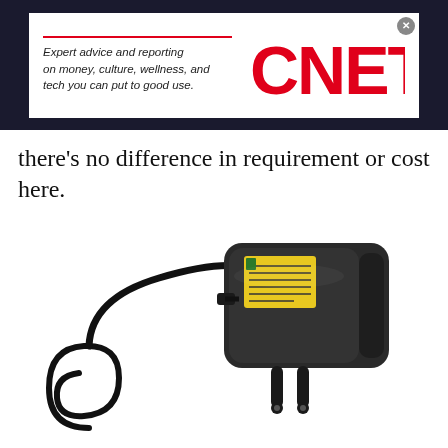[Figure (logo): CNET advertisement banner with red logo and italic tagline text on white background over dark header bar. Tagline: 'Expert advice and reporting on money, culture, wellness, and tech you can put to good use.']
there's no difference in requirement or cost here.
[Figure (photo): Black EU-plug power adapter/charger with two round prongs and a cable with yellow warning label sticker on the body of the adapter, photographed on white background.]